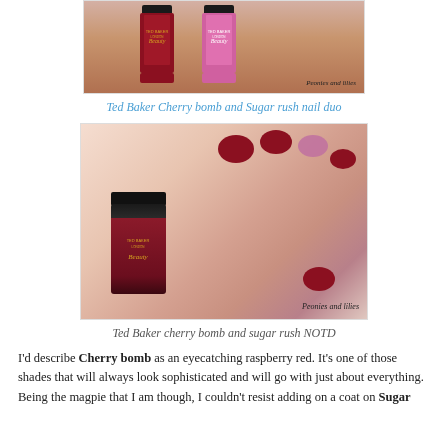[Figure (photo): Two Ted Baker nail polish bottles (Cherry bomb dark red and Sugar rush glittery pink) on a wooden surface, watermarked 'Peonies and lilies']
Ted Baker Cherry bomb and Sugar rush nail duo
[Figure (photo): A hand holding a Ted Baker Beauty nail polish bottle, nails painted red with one accent glitter nail, watermarked 'Peonies and lilies']
Ted Baker cherry bomb and sugar rush NOTD
I'd describe Cherry bomb as an eyecatching raspberry red. It's one of those shades that will always look sophisticated and will go with just about everything. Being the magpie that I am though, I couldn't resist adding on a coat on Sugar